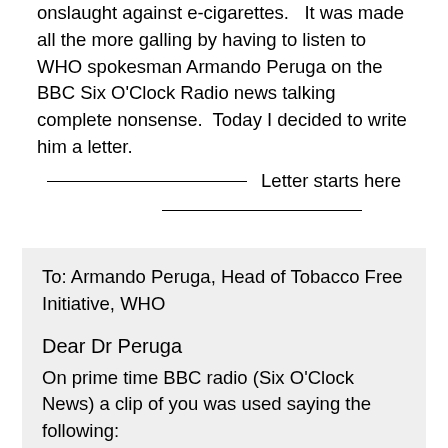onslaught against e-cigarettes.  It was made all the more galling by having to listen to WHO spokesman Armando Peruga on the BBC Six O'Clock Radio news talking complete nonsense.  Today I decided to write him a letter.
________________  Letter starts here
________________
To: Armando Peruga, Head of Tobacco Free Initiative, WHO

Dear Dr Peruga
On prime time BBC radio (Six O'Clock News) a clip of you was used saying the following:
There is scientific evidence that proves that